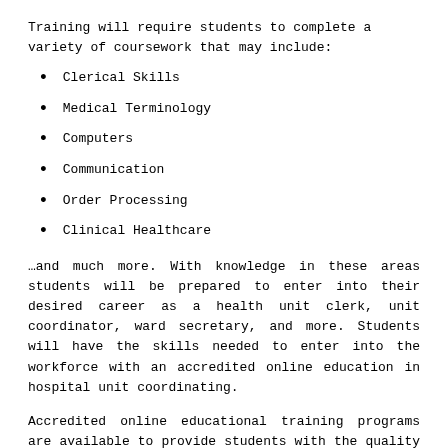Training will require students to complete a variety of coursework that may include:
Clerical Skills
Medical Terminology
Computers
Communication
Order Processing
Clinical Healthcare
…and much more. With knowledge in these areas students will be prepared to enter into their desired career as a health unit clerk, unit coordinator, ward secretary, and more. Students will have the skills needed to enter into the workforce with an accredited online education in hospital unit coordinating.
Accredited online educational training programs are available to provide students with the quality education they need and deserve. Full